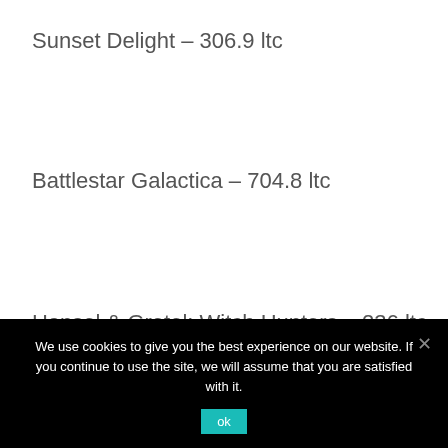Sunset Delight – 306.9 ltc
Battlestar Galactica – 704.8 ltc
Hansel & Gretel: Witch Hunters – 236 ltc
Booming Bananas – 160.4 btc
We use cookies to give you the best experience on our website. If you continue to use the site, we will assume that you are satisfied with it.